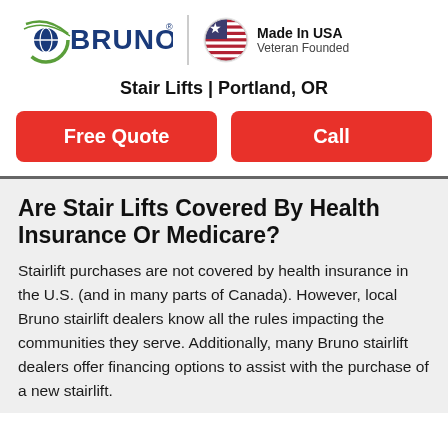[Figure (logo): Bruno logo with green and navy swoosh/globe icon and 'BRUNO' in bold navy text with registered trademark symbol, alongside a circular US flag badge with 'Made In USA / Veteran Founded' text]
Stair Lifts | Portland, OR
Free Quote
Call
Are Stair Lifts Covered By Health Insurance Or Medicare?
Stairlift purchases are not covered by health insurance in the U.S. (and in many parts of Canada). However, local Bruno stairlift dealers know all the rules impacting the communities they serve. Additionally, many Bruno stairlift dealers offer financing options to assist with the purchase of a new stairlift.